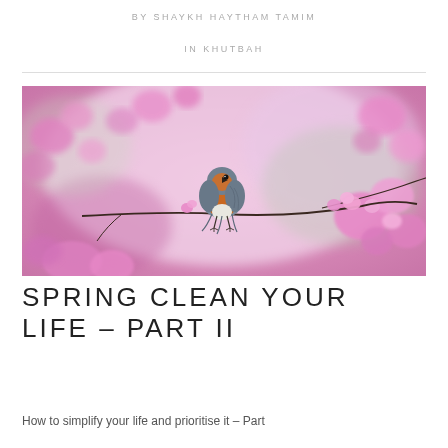BY SHAYKH HAYTHAM TAMIM
IN KHUTBAH
[Figure (photo): A small robin bird with an orange-brown breast sitting on a flowering branch with pink blossoms, blurred pink floral background]
SPRING CLEAN YOUR LIFE – PART II
How to simplify your life and prioritise it – Part